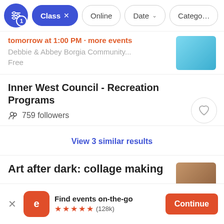[Figure (screenshot): Mobile app filter bar with a blue filter icon (badge: 1), an active 'Class x' pill in blue, and 'Online', 'Date v', 'Category' pills]
tomorrow at 1:00 PM · more events
Debbie & Abbey Borgia Community...
Free
Inner West Council - Recreation Programs
759 followers
View 3 similar results
Art after dark: collage making
Find events on-the-go ★★★★★ (128k)  Continue